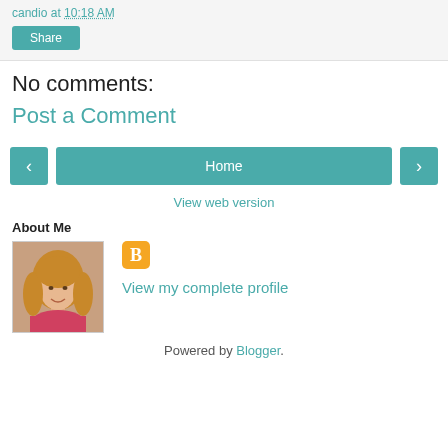candio at 10:18 AM
Share
No comments:
Post a Comment
< Home >
View web version
About Me
[Figure (photo): Profile photo of a woman with blonde hair wearing a pink top]
View my complete profile
Powered by Blogger.